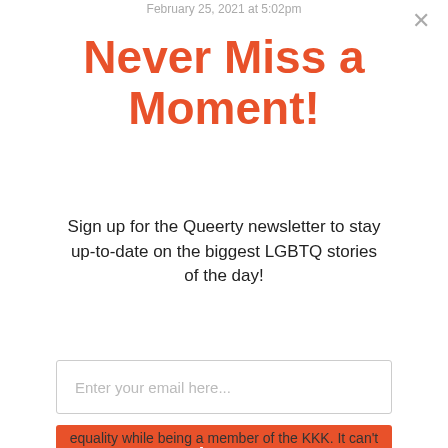February 25, 2021 at 5:02pm
Never Miss a Moment!
Sign up for the Queerty newsletter to stay up-to-date on the biggest LGBTQ stories of the day!
Enter your email here...
Sign Up
equality while being a member of the KKK. It can't